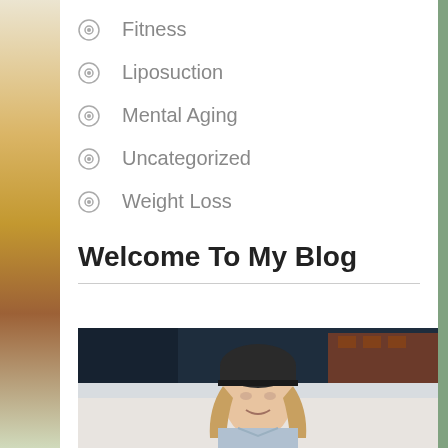Fitness
Liposuction
Mental Aging
Uncategorized
Weight Loss
Welcome To My Blog
[Figure (photo): A smiling young woman wearing a dark beanie hat and light jacket, photographed outdoors with a blurred urban background]